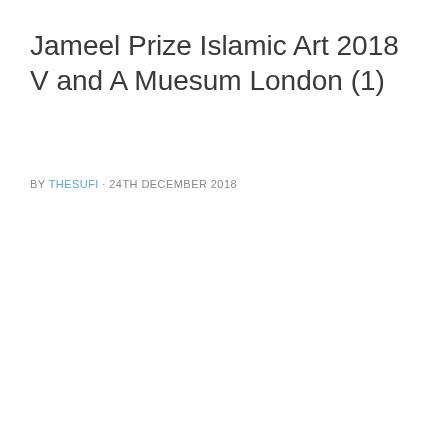Jameel Prize Islamic Art 2018 V and A Muesum London (1)
BY THESUFI · 24TH DECEMBER 2018